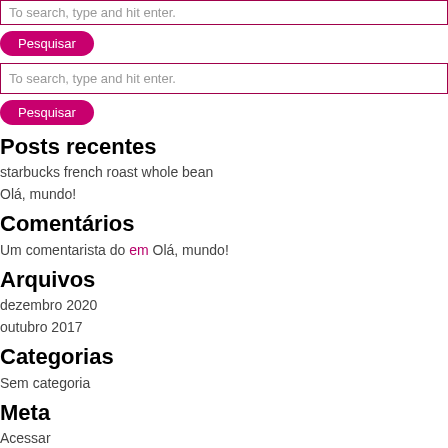To search, type and hit enter.
Pesquisar
To search, type and hit enter.
Pesquisar
Posts recentes
starbucks french roast whole bean
Olá, mundo!
Comentários
Um comentarista do em Olá, mundo!
Arquivos
dezembro 2020
outubro 2017
Categorias
Sem categoria
Meta
Acessar